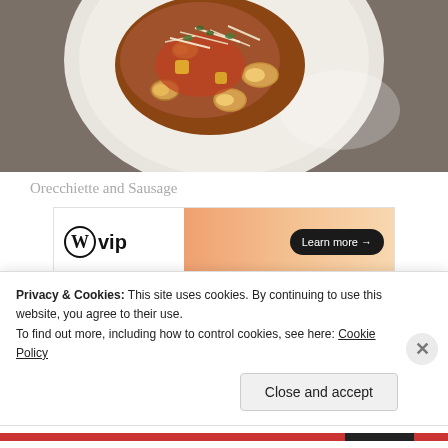[Figure (photo): A white plate with orecchiette pasta and sausage topped with shaved cheese and herbs, on a gray background]
Orecchiette and Sausage
[Figure (other): WordPress VIP advertisement banner with 'Learn more' button on gradient orange background]
REPORT THIS AD
Another brilliant dish
Privacy & Cookies: This site uses cookies. By continuing to use this website, you agree to their use.
To find out more, including how to control cookies, see here: Cookie Policy
Close and accept